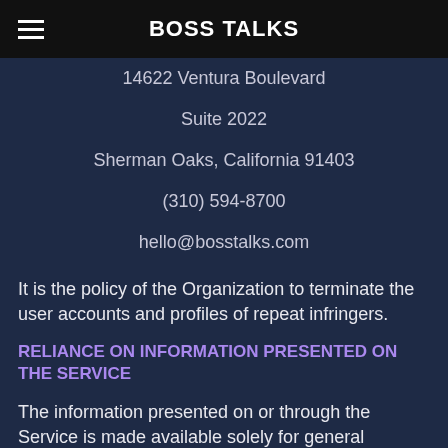BOSS TALKS
14622 Ventura Boulevard
Suite 2022
Sherman Oaks, California 91403
(310) 594-8700
hello@bosstalks.com
It is the policy of the Organization to terminate the user accounts and profiles of repeat infringers.
RELIANCE ON INFORMATION PRESENTED ON THE SERVICE
The information presented on or through the Service is made available solely for general information purposes. We do not warrant the accuracy, completeness, or usefulness of this information. Any reliance you place on such information